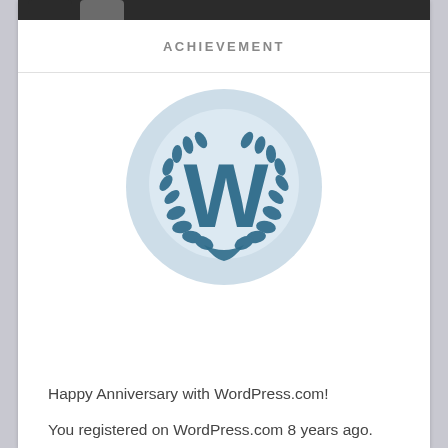ACHIEVEMENT
[Figure (logo): WordPress.com circular badge with the letter W surrounded by laurel wreath branches on a light blue background]
Happy Anniversary with WordPress.com!
You registered on WordPress.com 8 years ago.
Thanks for flying with us. Keep up the good blogging.
Being on the margins brings many unique and